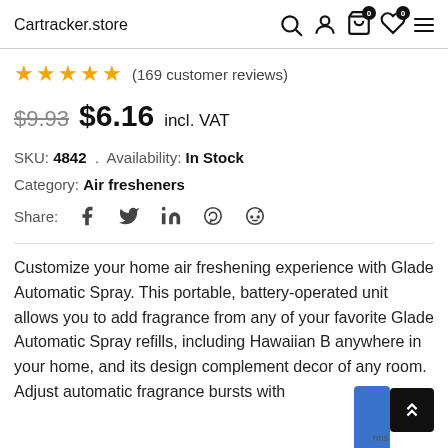Cartracker.store
★★★★★ (169 customer reviews)
$9.93 $6.16 incl. VAT
SKU: 4842 . Availability: In Stock
Category: Air fresheners
Share: f  y  in  (pinterest)  (reddit)
Customize your home air freshening experience with Glade Automatic Spray. This portable, battery-operated unit allows you to add fragrance from any of your favorite Glade Automatic Spray refills, including Hawaiian B anywhere in your home, and its design complement decor of any room. Adjust automatic fragrance bursts with